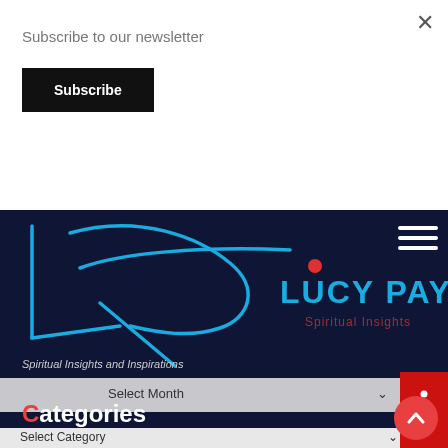Subscribe to our newsletter
Subscribe
[Figure (logo): Lucy Paynter Spiritual Insights logo with stylized LP monogram in blue and 'LUCY PAYNTER' text with subtitle 'Spiritual Insights and Inspirations']
Spiritual Insights and Inspirations
Select Month
Categories
Select Category